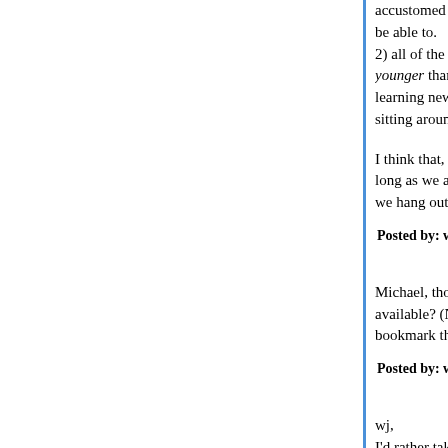accustomed to being able to just log on and look be able to. 2) all of the "old people" there. Said "old people" b younger than she was. But she was still intereste learning new stuff, interacting with friends, etc. W sitting around waiting to die.
I think that, on the second count anyway, everybo long as we are physically able to think, we'll stay i we hang out here.
Posted by: wj | January 10, 2018 at 12:20 PM
Michael, those are some cool maps! Any chance available? (Not that I have time to play with them bookmark the page, against the day I do.)
Posted by: wj | January 10, 2018 at 12:22 PM
wj, I'd rather take any discussion of the map stuff sor threadjacking this particular post. I debated for a b at all.